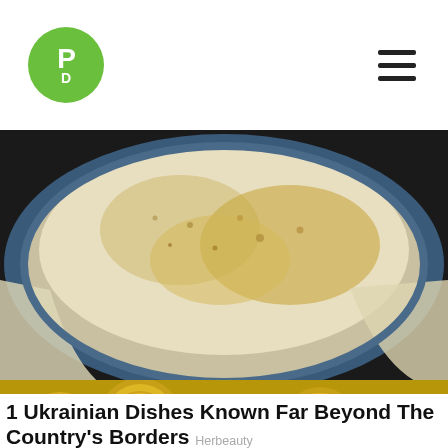[Figure (logo): PD logo: green circle with white letters P and D]
[Figure (photo): Food photograph: close-up of a casserole dish with baked cheese or dough, golden brown, in a blue cast iron pot]
1 Ukrainian Dishes Known Far Beyond The Country's Borders
Herbeauty
[Figure (photo): Close-up of gold-colored NFT coins stacked together]